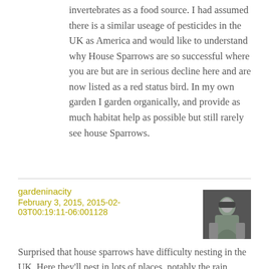invertebrates as a food source. I had assumed there is a similar useage of pesticides in the UK as America and would like to understand why House Sparrows are so successful where you are but are in serious decline here and are now listed as a red status bird. In my own garden I garden organically, and provide as much habitat help as possible but still rarely see house Sparrows.
gardeninacity
February 3, 2015, 2015-02-03T00:19:11-06:001128
[Figure (photo): Avatar photo of user gardeninacity showing a person working outdoors, dark image]
Surprised that house sparrows have difficulty nesting in the UK. Here they'll nest in lots of places, notably the rain gutters along our house.